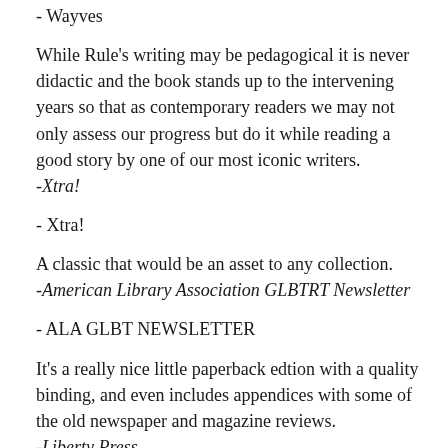- Wayves
While Rule's writing may be pedagogical it is never didactic and the book stands up to the intervening years so that as contemporary readers we may not only assess our progress but do it while reading a good story by one of our most iconic writers.
-Xtra!
- Xtra!
A classic that would be an asset to any collection.
-American Library Association GLBTRT Newsletter
- ALA GLBT NEWSLETTER
It's a really nice little paperback edtion with a quality binding, and even includes appendices with some of the old newspaper and magazine reviews.
-Liberty Press